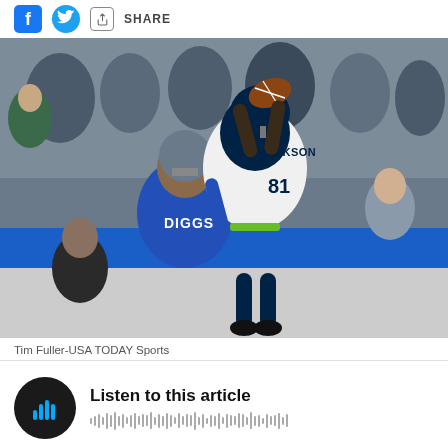SHARE
[Figure (photo): NFL game action photo showing a Seattle Seahawks player (DICKSON, #81) making a catch over a Detroit Lions defender (DIGGS). The Seahawks player is leaping high to catch a football while the Lions defender in blue uniform attempts to defend. Crowd visible in background.]
Tim Fuller-USA TODAY Sports
Listen to this article